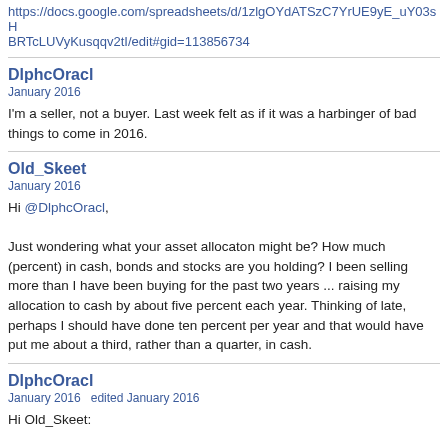https://docs.google.com/spreadsheets/d/1zlgOYdATSzC7YrUE9yE_uY03sHBRTcLUVyKusqqv2tI/edit#gid=113856734
DlphcOracl
January 2016
I'm a seller, not a buyer. Last week felt as if it was a harbinger of bad things to come in 2016.
Old_Skeet
January 2016
Hi @DlphcOracl,

Just wondering what your asset allocaton might be? How much (percent) in cash, bonds and stocks are you holding? I been selling more than I have been buying for the past two years ... raising my allocation to cash by about five percent each year. Thinking of late, perhaps I should have done ten percent per year and that would have put me about a third, rather than a quarter, in cash.
DlphcOracl
January 2016   edited January 2016
Hi Old_Skeet: